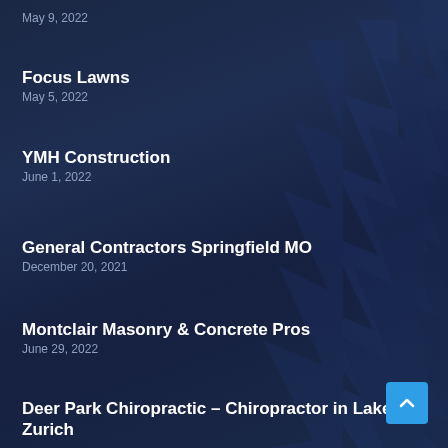May 9, 2022
Focus Lawns
May 5, 2022
YMH Construction
June 1, 2022
General Contractors Springfield MO
December 20, 2021
Montclair Masonry & Concrete Pros
June 29, 2022
Deer Park Chiropractic – Chiropractor in Lake Zurich